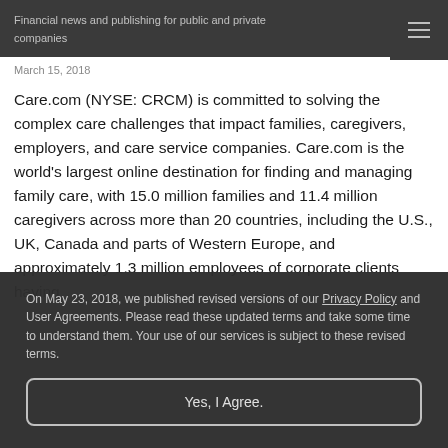Financial news and publishing for public and private companies
March 15, 2018
Care.com (NYSE: CRCM) is committed to solving the complex care challenges that impact families, caregivers, employers, and care service companies. Care.com is the world's largest online destination for finding and managing family care, with 15.0 million families and 11.4 million caregivers across more than 20 countries, including the U.S., UK, Canada and parts of Western Europe, and approximately 1.3 million employees of corporate clients having
On May 23, 2018, we published revised versions of our Privacy Policy and User Agreements. Please read these updated terms and take some time to understand them. Your use of our services is subject to these revised terms.
Yes, I Agree.